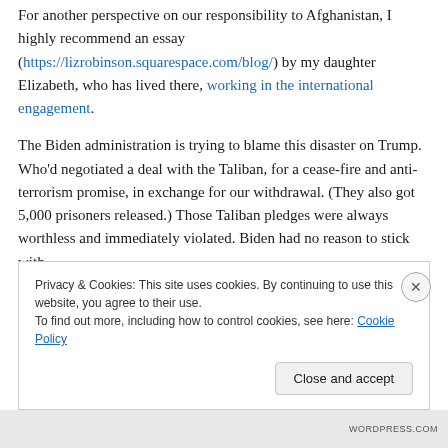For another perspective on our responsibility to Afghanistan, I highly recommend an essay (https://lizrobinson.squarespace.com/blog/) by my daughter Elizabeth, who has lived there, working in the international engagement.
The Biden administration is trying to blame this disaster on Trump. Who'd negotiated a deal with the Taliban, for a cease-fire and anti-terrorism promise, in exchange for our withdrawal. (They also got 5,000 prisoners released.) Those Taliban pledges were always worthless and immediately violated. Biden had no reason to stick with
Privacy & Cookies: This site uses cookies. By continuing to use this website, you agree to their use.
To find out more, including how to control cookies, see here: Cookie Policy
Close and accept